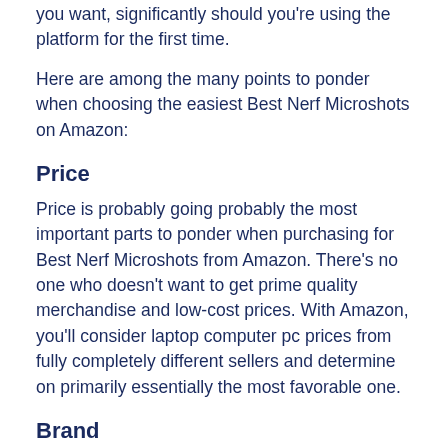you want, significantly should you're using the platform for the first time.
Here are among the many points to ponder when choosing the easiest Best Nerf Microshots on Amazon:
Price
Price is probably going probably the most important parts to ponder when purchasing for Best Nerf Microshots from Amazon. There’s no one who doesn’t want to get prime quality merchandise and low-cost prices. With Amazon, you’ll consider laptop computer pc prices from fully completely different sellers and determine on primarily essentially the most favorable one.
Brand
The completely different important situation it is important keep in mind when purchasing for a Best Nerf Microshots from Amazon is the mannequin. Different sellers promote